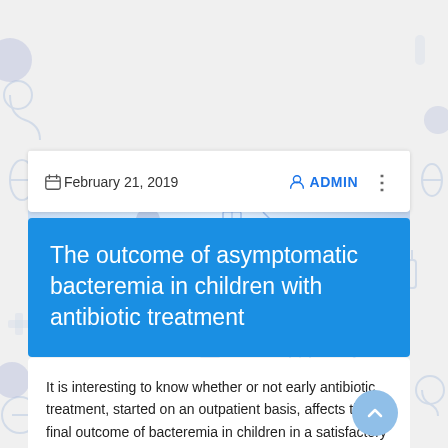February 21, 2019  ADMIN
The outcome of asymptomatic bacteremia in children with antibiotic treatment
It is interesting to know whether or not early antibiotic treatment, started on an outpatient basis, affects the final outcome of bacteremia in children in a satisfactory condition. Despite the presence of a number of